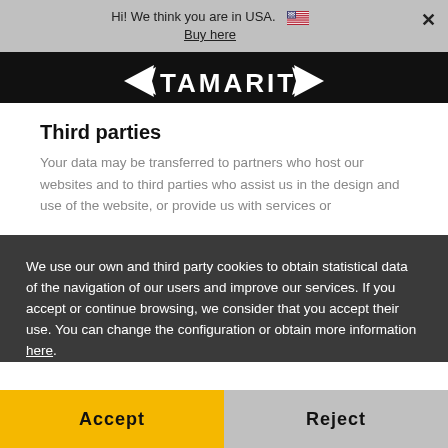Hi! We think you are in USA. 🇺🇸  Buy here  ×
[Figure (logo): Tamarit logo with wing chevrons on black background]
Third parties
Your data may be transferred to partners who host our websites and to third parties who assist us in the design and use of the website, or provide us with services or
We use our own and third party cookies to obtain statistical data of the navigation of our users and improve our services. If you accept or continue browsing, we consider that you accept their use. You can change the configuration or obtain more information here.
that are part of our group and, for the purposes previously described in this